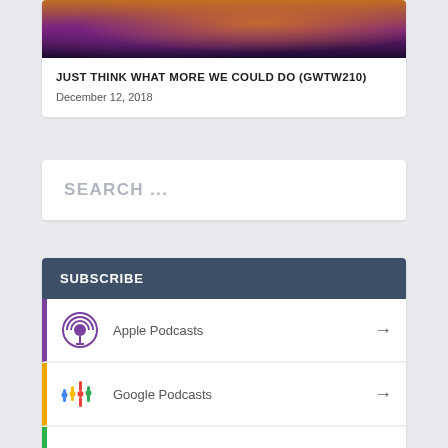[Figure (photo): Coral/sea anemone macro photo with orange, purple, and dark tones, partially visible at top]
JUST THINK WHAT MORE WE COULD DO (GWTW210)
December 12, 2018
SEARCH ...
SUBSCRIBE
Apple Podcasts
Google Podcasts